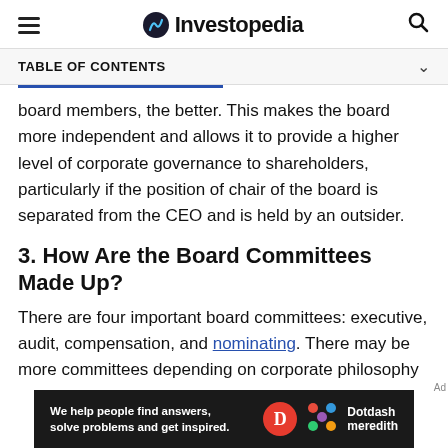Investopedia
TABLE OF CONTENTS
board members, the better. This makes the board more independent and allows it to provide a higher level of corporate governance to shareholders, particularly if the position of chair of the board is separated from the CEO and is held by an outsider.
3. How Are the Board Committees Made Up?
There are four important board committees: executive, audit, compensation, and nominating. There may be more committees depending on corporate philosophy
[Figure (other): Dotdash Meredith advertisement banner: 'We help people find answers, solve problems and get inspired.']